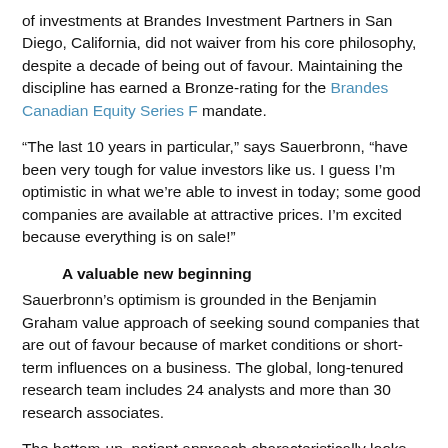of investments at Brandes Investment Partners in San Diego, California, did not waiver from his core philosophy, despite a decade of being out of favour. Maintaining the discipline has earned a Bronze-rating for the Brandes Canadian Equity Series F mandate.
“The last 10 years in particular,” says Sauerbronn, “have been very tough for value investors like us. I guess I’m optimistic in what we’re able to invest in today; some good companies are available at attractive prices. I’m excited because everything is on sale!”
A valuable new beginning
Sauerbronn’s optimism is grounded in the Benjamin Graham value approach of seeking sound companies that are out of favour because of market conditions or short-term influences on a business. The global, long-tenured research team includes 24 analysts and more than 30 research associates.
The bottom-up, patient approach characteristically looks for